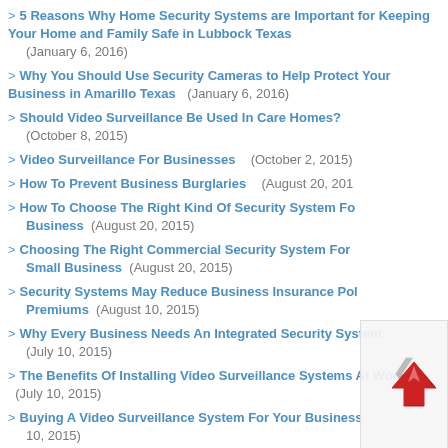> 5 Reasons Why Home Security Systems are Important for Keeping Your Home and Family Safe in Lubbock Texas (January 6, 2016)
> Why You Should Use Security Cameras to Help Protect Your Business in Amarillo Texas (January 6, 2016)
> Should Video Surveillance Be Used In Care Homes? (October 8, 2015)
> Video Surveillance For Businesses (October 2, 2015)
> How To Prevent Business Burglaries (August 20, 2015)
> How To Choose The Right Kind Of Security System For Your Business (August 20, 2015)
> Choosing The Right Commercial Security System For Your Small Business (August 20, 2015)
> Security Systems May Reduce Business Insurance Policy Premiums (August 10, 2015)
> Why Every Business Needs An Integrated Security System (July 10, 2015)
> The Benefits Of Installing Video Surveillance Systems At Work (July 10, 2015)
> Buying A Video Surveillance System For Your Business (July 10, 2015)